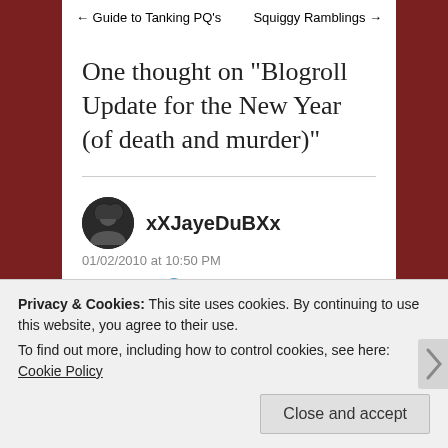← Guide to Tanking PQ's    Squiggy Ramblings →
One thought on “Blogroll Update for the New Year (of death and murder)”
xXJayeDuBXx
01/02/2010 at 10:50 PM
👍 0  👎 0  ℹ Rate This
Privacy & Cookies: This site uses cookies. By continuing to use this website, you agree to their use.
To find out more, including how to control cookies, see here: Cookie Policy
Close and accept